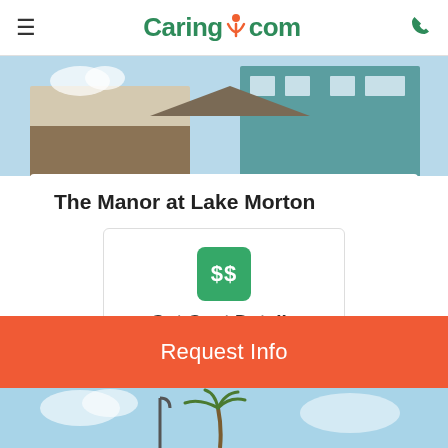Caring.com
[Figure (photo): Exterior photo of a multi-story residential building with blue sky and colorful facade]
The Manor at Lake Morton
[Figure (infographic): Get Cost Details card with green $$ badge icon]
4 Reviews
[Figure (photo): Bottom exterior photo with palm tree and blue sky]